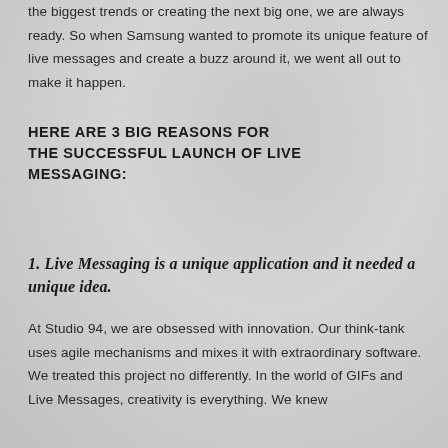the biggest trends or creating the next big one, we are always ready. So when Samsung wanted to promote its unique feature of live messages and create a buzz around it, we went all out to make it happen.
HERE ARE 3 BIG REASONS FOR THE SUCCESSFUL LAUNCH OF LIVE MESSAGING:
1. Live Messaging is a unique application and it needed a unique idea.
At Studio 94, we are obsessed with innovation. Our think-tank uses agile mechanisms and mixes it with extraordinary software. We treated this project no differently. In the world of GIFs and Live Messages, creativity is everything. We knew